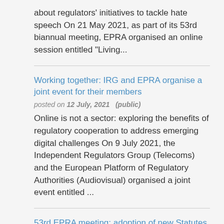about regulators' initiatives to tackle hate speech On 21 May 2021, as part of its 53rd biannual meeting, EPRA organised an online session entitled "Living...
Working together: IRG and EPRA organise a joint event for their members
posted on 12 July, 2021  (public)
Online is not a sector: exploring the benefits of regulatory cooperation to address emerging digital challenges On 9 July 2021, the Independent Regulators Group (Telecoms) and the European Platform of Regulatory Authorities (Audiovisual) organised a joint event entitled ...
53rd EPRA meeting: adoption of new Statutes
posted on 25 May, 2021  (public)
EPRA Members adopt new statutes As part of the EPRA Strategy for 2021-2023 "Sharing knowledge to...